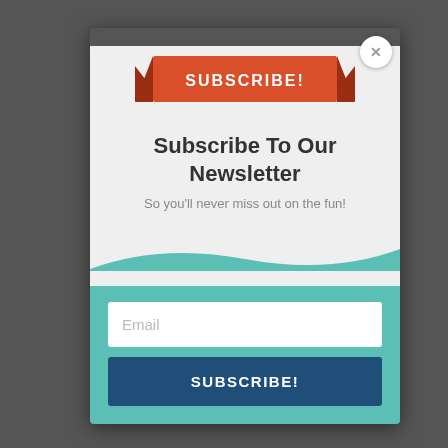[Figure (illustration): Newsletter subscription modal popup with a red ribbon banner saying SUBSCRIBE!, a title Subscribe To Our Newsletter, subtitle text, email input field, and a dark blue SUBSCRIBE! button, overlaid on a darkened background photo.]
Subscribe To Our Newsletter
So you'll never miss out on the fun!
Email
SUBSCRIBE!